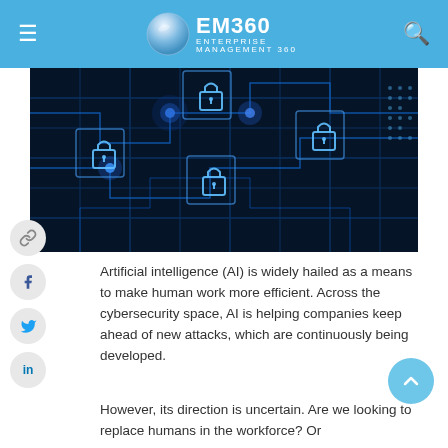EM360 ENTERPRISE MANAGEMENT 360
[Figure (photo): Cybersecurity themed image showing a dark blue circuit board with glowing blue padlock icons and circuit traces in a futuristic digital style]
Artificial intelligence (AI) is widely hailed as a means to make human work more efficient. Across the cybersecurity space, AI is helping companies keep ahead of new attacks, which are continuously being developed.
However, its direction is uncertain. Are we looking to replace humans in the workforce? Or